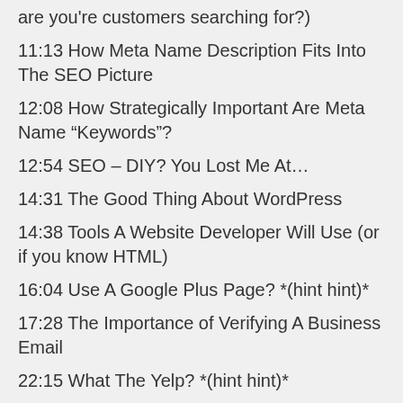are you're customers searching for?)
11:13 How Meta Name Description Fits Into The SEO Picture
12:08 How Strategically Important Are Meta Name “Keywords”?
12:54 SEO – DIY? You Lost Me At…
14:31 The Good Thing About WordPress
14:38 Tools A Website Developer Will Use (or if you know HTML)
16:04 Use A Google Plus Page? *(hint hint)*
17:28 The Importance of Verifying A Business Email
22:15 What The Yelp? *(hint hint)*
24:15 Google Algorithms, How They Affect How You Get Found Online